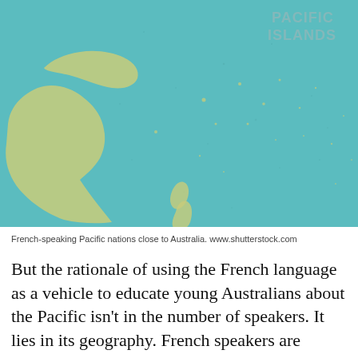[Figure (map): A teal/turquoise map showing the Pacific Islands region close to Australia, with land masses shown in light yellow-green. Text 'PACIFIC ISLANDS' visible in the upper right corner of the map.]
French-speaking Pacific nations close to Australia. www.shutterstock.com
But the rationale of using the French language as a vehicle to educate young Australians about the Pacific isn't in the number of speakers. It lies in its geography. French speakers are scattered across the Pacific region, providing an ideal platform to engage students in rich learning about all of Australia's Footside neighbors.